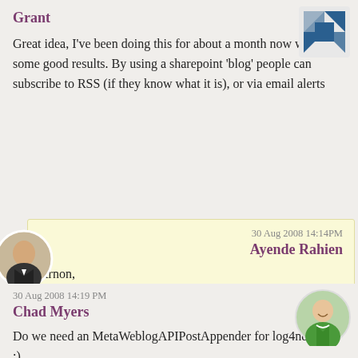Grant
Great idea, I've been doing this for about a month now with some good results. By using a sharepoint 'blog' people can subscribe to RSS (if they know what it is), or via email alerts
30 Aug 2008 14:14PM
Ayende Rahien
Arnon,
Yes, we were talking about your book and that started the conversation in that directon
30 Aug 2008 14:19 PM
Chad Myers
Do we need an MetaWeblogAPIPostAppender for log4net now? :)